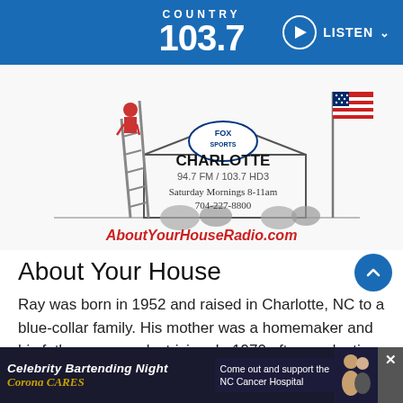COUNTRY 103.7  LISTEN
[Figure (illustration): About Your House Radio advertisement graphic with Fox Sports Charlotte logo, house illustration with cartoon handyman on a ladder, American flag on a pole, text: CHARLOTTE 94.7 FM / 103.7 HD3, Saturday Mornings 8-11am, 704-227-8800, AboutYourHouseRadio.com]
About Your House
Ray was born in 1952 and raised in Charlotte, NC to a blue-collar family. His mother was a homemaker and his father was an electrician. In 1970 after graduating from Garinger High School, he joined the Army National
[Figure (illustration): Celebrity Bartending Night advertisement banner at bottom of page. Shows 'Celebrity Bartending Night' text in white italic, Corona Cares logo in gold/yellow, 'Come out and support the NC Cancer Hospital' text in white, with photos of two people on the right side. X close button on far right.]